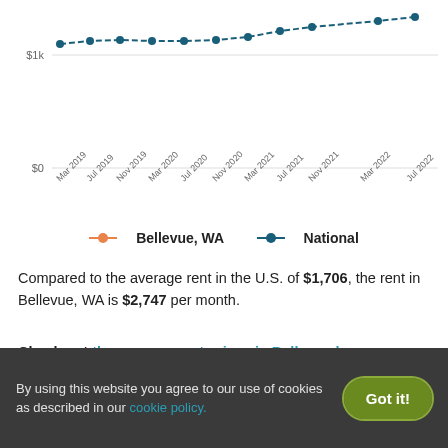[Figure (line-chart): Average Rent in Bellevue, WA vs National]
Bellevue, WA  National
Compared to the average rent in the U.S. of $1,706, the rent in Bellevue, WA is $2,747 per month.
Check out the average rent prices in Bellevue by neighborhood.
By using this website you agree to our use of cookies as described in our cookie policy.